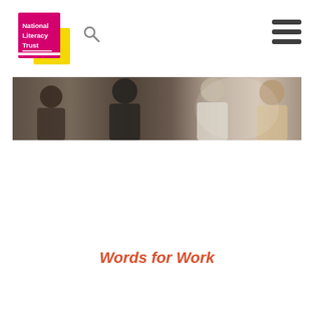[Figure (logo): National Literacy Trust logo — pink/magenta square with white text 'National Literacy Trust' overlapping a yellow square, on white background]
[Figure (photo): Wide banner photo of students/people sitting around a table working together, blurred/warm tones]
Words for Work